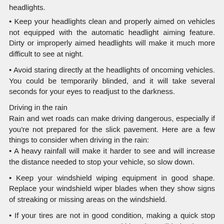headlights.
• Keep your headlights clean and properly aimed on vehicles not equipped with the automatic headlight aiming feature. Dirty or improperly aimed headlights will make it much more difficult to see at night.
• Avoid staring directly at the headlights of oncoming vehicles. You could be temporarily blinded, and it will take several seconds for your eyes to readjust to the darkness.
Driving in the rain
Rain and wet roads can make driving dangerous, especially if you're not prepared for the slick pavement. Here are a few things to consider when driving in the rain:
• A heavy rainfall will make it harder to see and will increase the distance needed to stop your vehicle, so slow down.
• Keep your windshield wiping equipment in good shape. Replace your windshield wiper blades when they show signs of streaking or missing areas on the windshield.
• If your tires are not in good condition, making a quick stop on wet pavement can cause a skid and possibly lead to an accident. Be sure your tires are in good shape.